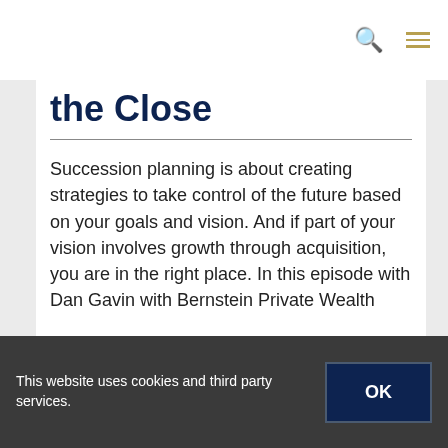[navigation bar with search and menu icons]
the Close
Succession planning is about creating strategies to take control of the future based on your goals and vision. And if part of your vision involves growth through acquisition, you are in the right place. In this episode with Dan Gavin with Bernstein Private Wealth
This website uses cookies and third party services.